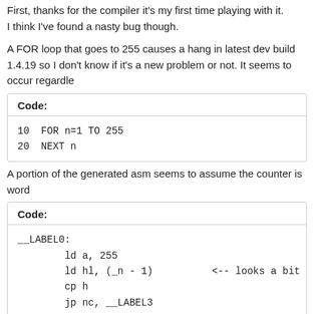First, thanks for the compiler it's my first time playing with it.
I think I've found a nasty bug though.
A FOR loop that goes to 255 causes a hang in latest dev build 1.4.19 so I don't know if it's a new problem or not. It seems to occur regardle
| Code: |
| --- |
| 10 FOR n=1 TO 255
20 NEXT n |
A portion of the generated asm seems to assume the counter is word
| Code: |
| --- |
| __LABEL0:
        ld a, 255
        ld hl, (_n - 1)          <-- looks a bit o
        cp h
        jp nc, __LABEL3 |
I'm running python 2.7.6 btw.
Hope that's enough to investigate it...
Colm